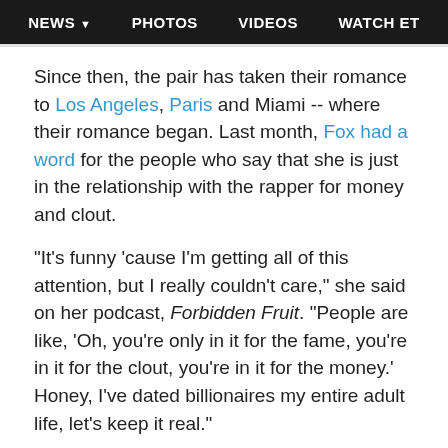NEWS ▾   PHOTOS   VIDEOS   WATCH ET
Since then, the pair has taken their romance to Los Angeles, Paris and Miami -- where their romance began. Last month, Fox had a word for the people who say that she is just in the relationship with the rapper for money and clout.
"It's funny 'cause I'm getting all of this attention, but I really couldn't care," she said on her podcast, Forbidden Fruit. "People are like, 'Oh, you're only in it for the fame, you're in it for the clout, you're in it for the money.' Honey, I've dated billionaires my entire adult life, let's keep it real."
GET THE ET NEWSLETTER
E-Mail Address